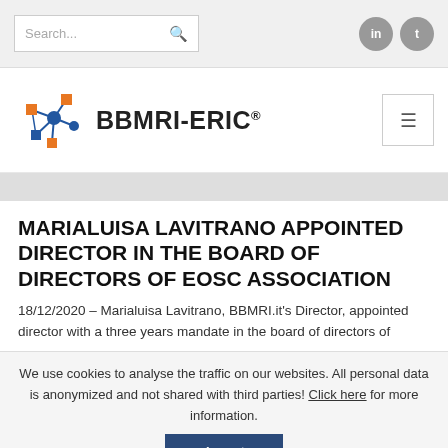Search... [search icon] [LinkedIn icon] [Twitter icon]
[Figure (logo): BBMRI-ERIC logo with network graph icon and text BBMRI-ERIC®]
MARIALUISA LAVITRANO APPOINTED DIRECTOR IN THE BOARD OF DIRECTORS OF EOSC ASSOCIATION
18/12/2020 – Marialuisa Lavitrano, BBMRI.it's Director, appointed director with a three years mandate in the board of directors of
We use cookies to analyse the traffic on our websites. All personal data is anonymized and not shared with third parties! Click here for more information.
Accept